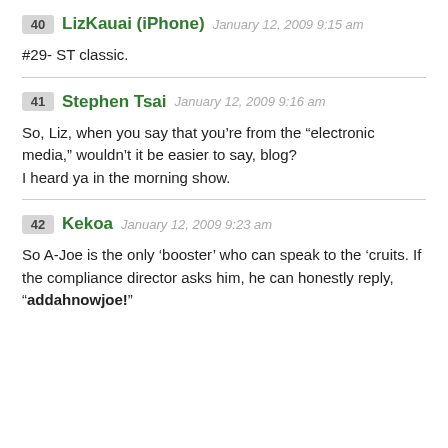40 LizKauai (iPhone) January 12, 2009 9:15 am
#29- ST classic.
41 Stephen Tsai January 12, 2009 9:16 am
So, Liz, when you say that you’re from the “electronic media,” wouldn’t it be easier to say, blog?
I heard ya in the morning show.
42 Kekoa January 12, 2009 9:23 am
So A-Joe is the only ‘booster’ who can speak to the ‘cruits. If the compliance director asks him, he can honestly reply, “addahnowjoe!”